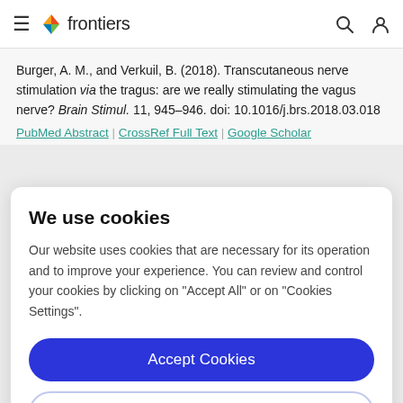frontiers
Burger, A. M., and Verkuil, B. (2018). Transcutaneous nerve stimulation via the tragus: are we really stimulating the vagus nerve? Brain Stimul. 11, 945–946. doi: 10.1016/j.brs.2018.03.018
PubMed Abstract | CrossRef Full Text | Google Scholar
We use cookies
Our website uses cookies that are necessary for its operation and to improve your experience. You can review and control your cookies by clicking on "Accept All" or on "Cookies Settings".
Accept Cookies
Cookies Settings